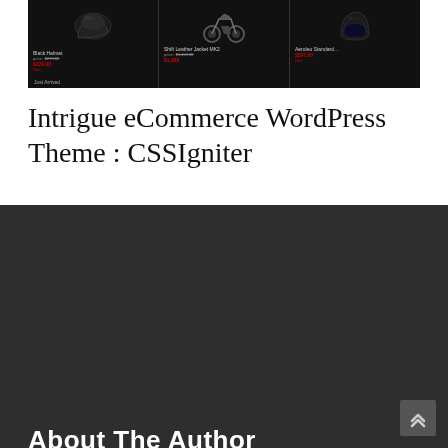[Figure (screenshot): Screenshot of Intrigue eCommerce WordPress Theme product listing showing three products: a black shoe/helmet, a motorcycle, and a helmet, with prices in red on a dark background]
Intrigue eCommerce WordPress Theme : CSSIgniter
About The Author
[Figure (photo): Generic grey silhouette avatar photo of author Ronnie ParKar]
Ronnie ParKar
WordPress Themes Review writer at WordPress Review Blog